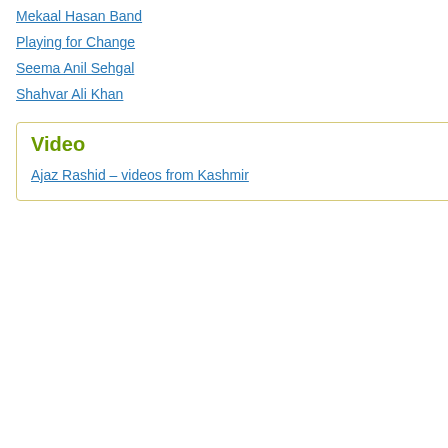Mekaal Hasan Band
Playing for Change
Seema Anil Sehgal
Shahvar Ali Khan
Video
Ajaz Rashid – videos from Kashmir
is so very important to set th... lines. However, if the idea is and being literal, there may b... to everyone and the blogger...
Best of luck.
Like  👍 0  👎 0  ℹ Rate
Dr.Daniyal Nagi, on April 20, 2010 at 7:49 pm s
Beautiful, it truly reflects the vision of our Qu... true modern democratic state ,where every... as an individual affair.With state not interfer... Hindu poet to write the national Anthem. He... constituent assembly (Speaker) Mr.J.N. Ma... He was truly a visionary leader, and wanted... our leaders of today.
Daniyal.
Ireland
Like  👍 2  👎 0  ℹ Rate This
Reply